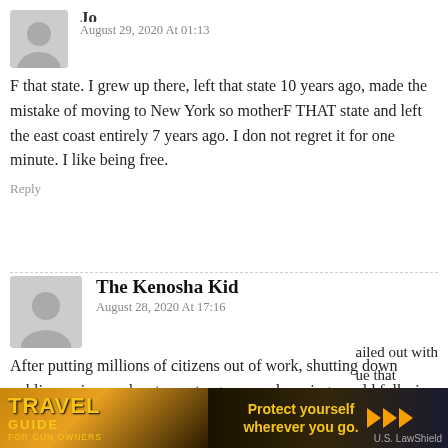August 29, 2020 At 01:13
F that state. I grew up there, left that state 10 years ago, made the mistake of moving to New York so motherF THAT state and left the east coast entirely 7 years ago. I don not regret it for one minute. I like being free.
Reply
The Kenosha Kid
August 28, 2020 At 17:16
After putting millions of citizens out of work, shutting down public services and restaurants, gyms, and serving up old folks in nursing homes with death sentences Filthy Phil Murphy has more tricks up his sleeve.
[Figure (other): Advertisement banner: Travel Guide for Gun Owners with text 'Protect yourself wherever you go.' and U.S. LawShield branding, overlaid on the comment section at the bottom of the page.]